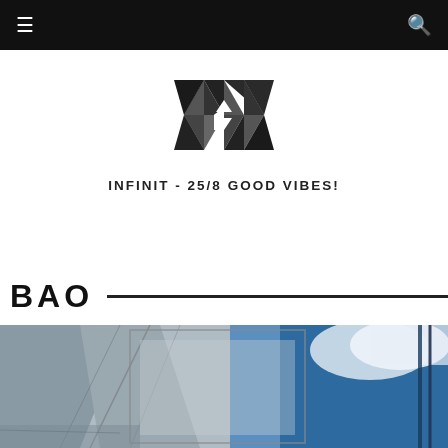Navigation bar with hamburger menu and search icon
[Figure (logo): Geometric diamond/infinity-shaped logo made of triangular facets in dark gray/black]
INFINIT - 25/8 GOOD VIBES!
BAO
[Figure (photo): Photo showing architectural/structural elements in black and white on the left, blending into a blue sky with clouds on the right]